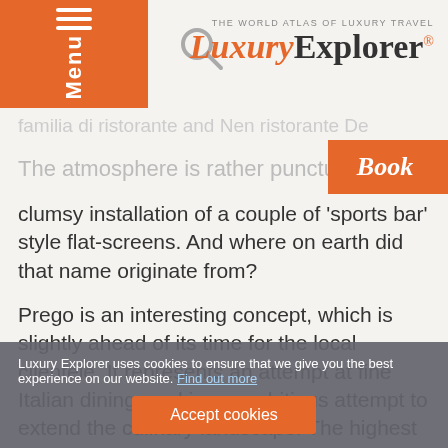THE WORLD ATLAS OF LUXURY TRAVEL — Luxury Explorer®
The atmosphere is rather punctured by clumsy installation of a couple of 'sports bar' style flat-screens. And where on earth did that name originate from?
Prego is an interesting concept, which is slightly ahead of its time for the local clientele. It represents an attempt at fine Italian dining, and is an ambitious attempt to extend the culinary landscape. The highest standards are promised, and the wine list is impressively extensive.
At the top end, there are some very serious
Luxury Explorer uses cookies to ensure that we give you the best experience on our website. Find out more